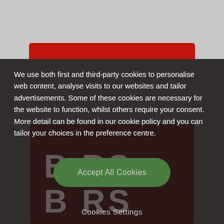[Figure (screenshot): Cookie consent overlay on a website. The background shows a dark red/maroon image with partially visible text 'BOBS BARS'. A semi-transparent dark overlay covers the lower portion. A red banner appears near the top. A green rounded 'Accept All Cookies' button and a 'Cookies Settings' text link are shown.]
We use both first and third-party cookies to personalise web content, analyse visits to our websites and tailor advertisements. Some of these cookies are necessary for the website to function, whilst others require your consent. More detail can be found in our cookie policy and you can tailor your choices in the preference centre.
Accept All Cookies
Cookies Settings